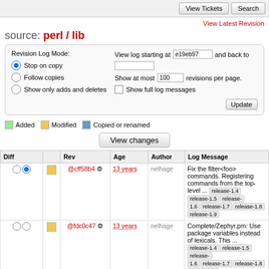View Tickets  Search
View Latest Revision
source: perl / lib
Revision Log Mode: Stop on copy (selected), Follow copies, Show only adds and deletes. View log starting at e19eb97 and back to [blank]. Show at most 100 revisions per page. Show full log messages. Update
Added  Modified  Copied or renamed
View changes
| Diff |  | Rev | Age | Author | Log Message |
| --- | --- | --- | --- | --- | --- |
| ○ ● | [yellow] | @cff58b4 ⚙ | 13 years | nelhage | Fix the filter<foo> commands. Registering commands from the top-level ... release-1.4 release-1.5 release-1.6 release-1.7 release-1.8 release-1.9 |
| ○ ○ | [yellow] | @fdc0c47 ⚙ | 13 years | nelhage | Complete/Zephyr.pm: Use package variables instead of lexicals. This ... release-1.4 release-1.5 release-1.6 release-1.7 release-1.8 release-1.9 |
| ○ ○ | [yellow] | @d5ccf4e8 ⚙ | 13 years | nelhage | Complete 'unset' as well as 'set'. release-1.4 release-1.5 release-1.6 release-1.7 release-1.8 release-1.9 |